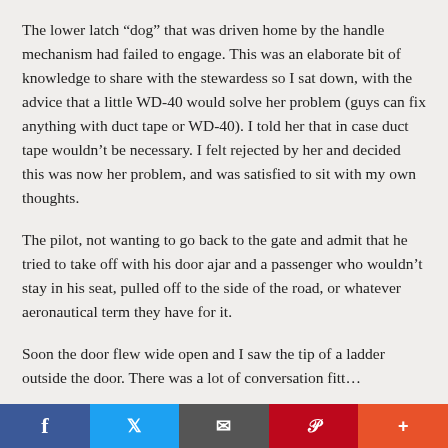The lower latch “dog” that was driven home by the handle mechanism had failed to engage. This was an elaborate bit of knowledge to share with the stewardess so I sat down, with the advice that a little WD-40 would solve her problem (guys can fix anything with duct tape or WD-40). I told her that in case duct tape wouldn’t be necessary. I felt rejected by her and decided this was now her problem, and was satisfied to sit with my own thoughts.
The pilot, not wanting to go back to the gate and admit that he tried to take off with his door ajar and a passenger who wouldn’t stay in his seat, pulled off to the side of the road, or whatever aeronautical term they have for it.
Soon the door flew wide open and I saw the tip of a ladder outside the door. There was a lot of conversation fitting over from the ladder…
f  t  [email]  p  +